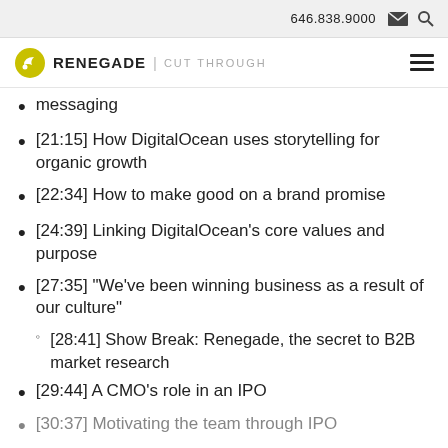646.838.9000
RENEGADE | CUT THROUGH
messaging
[21:15] How DigitalOcean uses storytelling for organic growth
[22:34] How to make good on a brand promise
[24:39] Linking DigitalOcean’s core values and purpose
[27:35] “We’ve been winning business as a result of our culture”
[28:41] Show Break: Renegade, the secret to B2B market research
[29:44] A CMO’s role in an IPO
[30:37] Motivating the team through IPO